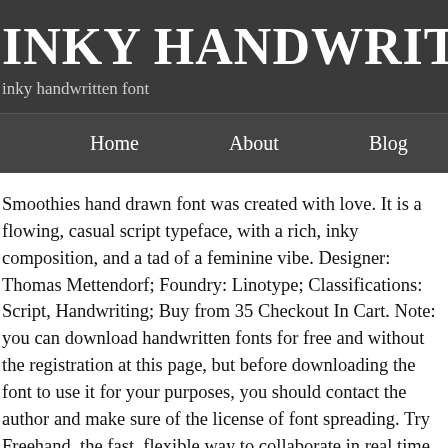INKY HANDWRITTEN FO
inky handwritten font
Home   About   Blog
Smoothies hand drawn font was created with love. It is a flowing, casual script typeface, with a rich, inky composition, and a tad of a feminine vibe. Designer: Thomas Mettendorf; Foundry: Linotype; Classifications: Script, Handwriting; Buy from 35 Checkout In Cart. Note: you can download handwritten fonts for free and without the registration at this page, but before downloading the font to use it for your purposes, you should contact the author and make sure of the license of font spreading. Try Freehand, the fast, flexible way to collaborate in real time. View Family; Select Font Format; Add … This post will grandstand most lovely free handwriting fonts that are certain to add a touch of identity to you next plan. Habel Handwriting Font is hand drawn display font, every single letters have been